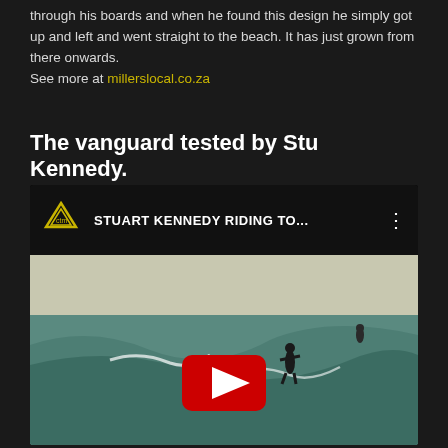through his boards and when he found this design he simply got up and left and went straight to the beach. It has just grown from there onwards.
See more at millerslocal.co.za
The vanguard tested by Stu Kennedy.
[Figure (screenshot): YouTube video embed showing 'STUART KENNEDY RIDING TO...' with a surfing video thumbnail below showing a surfer on a wave with a YouTube play button overlay.]